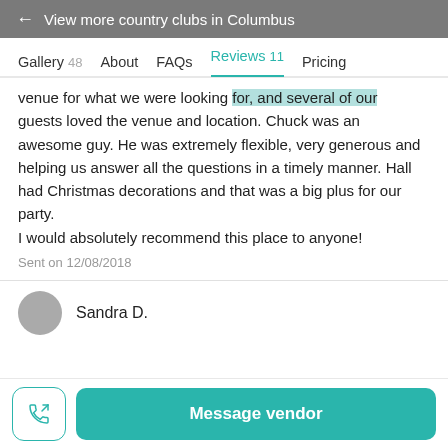← View more country clubs in Columbus
Gallery 48   About   FAQs   Reviews 11   Pricing
venue for what we were looking for, and several of our guests loved the venue and location. Chuck was an awesome guy. He was extremely flexible, very generous and helping us answer all the questions in a timely manner. Hall had Christmas decorations and that was a big plus for our party.
I would absolutely recommend this place to anyone!
Sent on 12/08/2018
Sandra D.
Message vendor